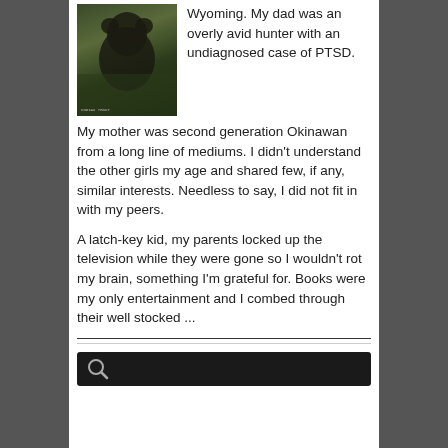[Figure (photo): Book cover image showing a dark bear figure against a green forest background, with small text at the bottom reading 'KODIAK TROUT [?]']
Wyoming. My dad was an overly avid hunter with an undiagnosed case of PTSD. My mother was second generation Okinawan from a long line of mediums. I didn't understand the other girls my age and shared few, if any, similar interests. Needless to say, I did not fit in with my peers.
A latch-key kid, my parents locked up the television while they were gone so I wouldn't rot my brain, something I'm grateful for. Books were my only entertainment and I combed through their well stocked ...
[Figure (screenshot): Search bar with dark background and magnifying glass icon]